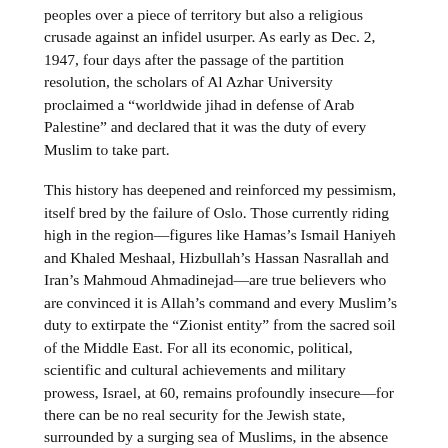peoples over a piece of territory but also a religious crusade against an infidel usurper. As early as Dec. 2, 1947, four days after the passage of the partition resolution, the scholars of Al Azhar University proclaimed a “worldwide jihad in defense of Arab Palestine” and declared that it was the duty of every Muslim to take part.
This history has deepened and reinforced my pessimism, itself bred by the failure of Oslo. Those currently riding high in the region—figures like Hamas’s Ismail Haniyeh and Khaled Meshaal, Hizbullah’s Hassan Nasrallah and Iran’s Mahmoud Ahmadinejad—are true believers who are convinced it is Allah’s command and every Muslim’s duty to extirpate the “Zionist entity” from the sacred soil of the Middle East. For all its economic, political, scientific and cultural achievements and military prowess, Israel, at 60, remains profoundly insecure—for there can be no real security for the Jewish state, surrounded by a surging sea of Muslims, in the absence of peace.
Morris’s most recent book on Israeli history is the recently published “1948: A History of the First Arab-Israeli War.